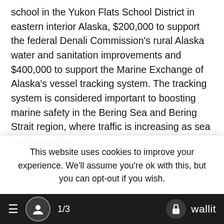school in the Yukon Flats School District in eastern interior Alaska, $200,000 to support the federal Denali Commission's rural Alaska water and sanitation improvements and $400,000 to support the Marine Exchange of Alaska's vessel tracking system. The tracking system is considered important to boosting marine safety in the Bering Sea and Bering Strait region, where traffic is increasing as sea ice diminishes.
For each of those vetoed items, Dunleavy's explanation was identical: “The state's fiscal reality dictates a reduction in expenditures across all agencies.”
TAGS  alaska  Gov. Mike Dunleavy  United States
This website uses cookies to improve your experience. We'll assume you're ok with this, but you can opt-out if you wish.
1/3  wallit